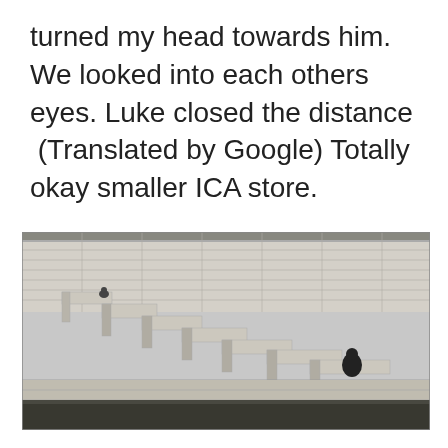turned my head towards him. We looked into each others eyes. Luke closed the distance  (Translated by Google) Totally okay smaller ICA store.
[Figure (photo): Black and white photograph of stone riverside steps/quay wall with a lone figure sitting near the bottom right, water visible at the bottom of the image.]